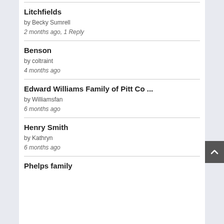Litchfields
by Becky Sumrell
2 months ago, 1 Reply
Benson
by coltraint
4 months ago
Edward Williams Family of Pitt Co ...
by Williamsfan
6 months ago
Henry Smith
by Kathryn
6 months ago
Phelps family